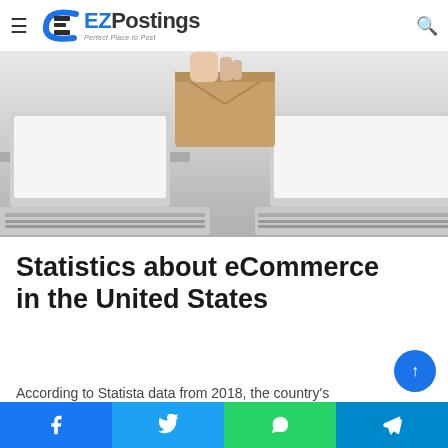EZPostings — Perfect Place to Post
[Figure (photo): Two laptops on a desk with a hand holding a brown envelope being transferred between them, symbolizing digital/email communication or ecommerce. Gray and white tones with a cardboard package in the background.]
Statistics about eCommerce in the United States
According to Statista data from 2018, the country's
Facebook | Twitter | WhatsApp | Telegram share buttons